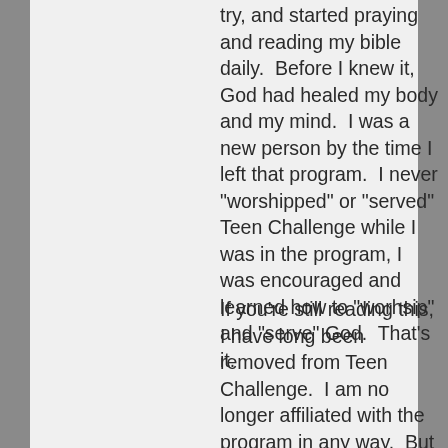try, and started praying and reading my bible daily.  Before I knew it, God had healed my body and my mind.  I was a new person by the time I left that program.  I never "worshipped" or "served" Teen Challenge while I was in the program, I was encouraged and learned how to "worhsip" and "serve" God.  That's it.
If you're still reading this, I have long been removed from Teen Challenge.  I am no longer affiliated with the program in any way.  But because of that "Cult," I have now been sober for 6 years, and have a beautiful wife and two beautiful daughters.  I'm a pretty decent husband, father, and